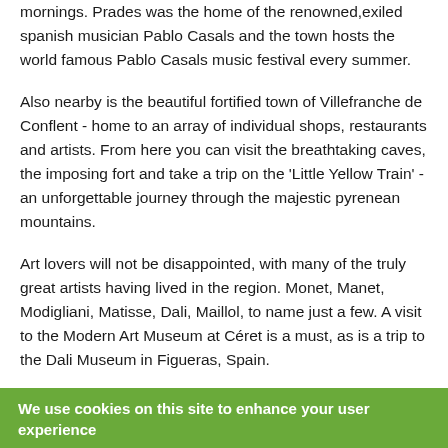mornings. Prades was the home of the renowned,exiled spanish musician Pablo Casals and the town hosts the world famous Pablo Casals music festival every summer.
Also nearby is the beautiful fortified town of Villefranche de Conflent - home to an array of individual shops, restaurants and artists. From here you can visit the breathtaking caves, the imposing fort and take a trip on the 'Little Yellow Train' - an unforgettable journey through the majestic pyrenean mountains.
Art lovers will not be disappointed, with many of the truly great artists having lived in the region. Monet, Manet, Modigliani, Matisse, Dali, Maillol, to name just a few. A visit to the Modern Art Museum at Céret is a must, as is a trip to the Dali Museum in Figueras, Spain.
No holiday to the region would be complete with out a trip to
We use cookies on this site to enhance your user experience